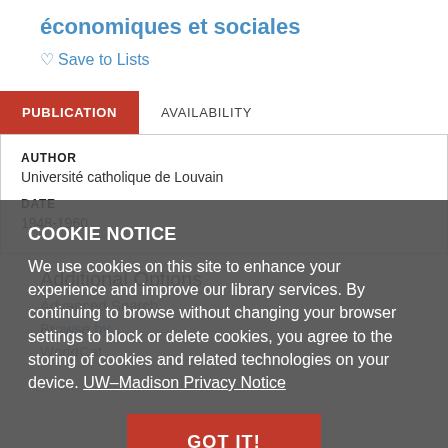économiques et sociales
♡ Save to Lists
PUBLICATION   AVAILABILITY
AUTHOR
Université catholique de Louvain
DATE
1948-1960
Additional Options
Advanced Search
Browse by...
WorldCat
COOKIE NOTICE
We use cookies on this site to enhance your experience and improve our library services. By continuing to browse without changing your browser settings to block or delete cookies, you agree to the storing of cookies and related technologies on your device. UW–Madison Privacy Notice
GOT IT!